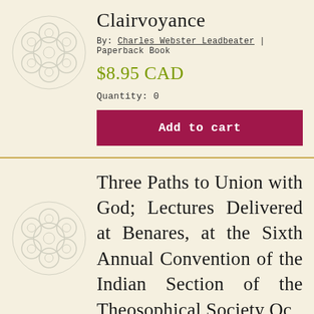Clairvoyance
By: Charles Webster Leadbeater | Paperback Book
$8.95 CAD
Quantity: 0
Add to cart
Three Paths to Union with God; Lectures Delivered at Benares, at the Sixth Annual Convention of the Indian Section of the Theosophical Society Oc